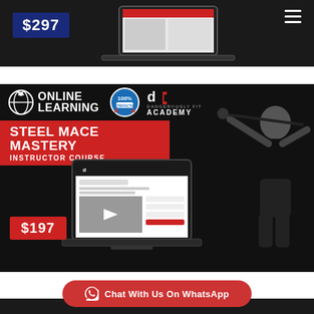[Figure (photo): Top promotional banner showing a laptop with fitness course website, price tag $297, and a person in athletic wear on dark background]
[Figure (infographic): Main banner: Online Learning badge with 100% guarantee seal and Dangerously Fit Academy logo, red bar reading STEEL MACE MASTERY INSTRUCTOR COURSE, laptop showing course website, person swinging steel mace, price $197]
Chat With Us On WhatsApp